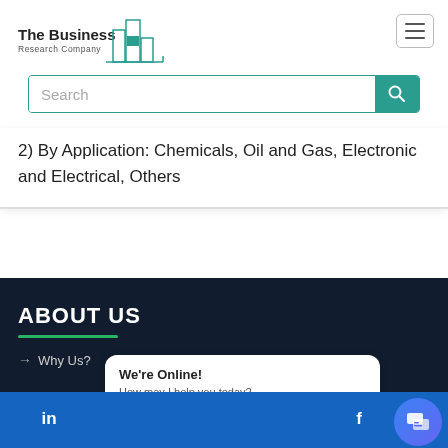[Figure (logo): The Business Research Company logo with building/bar chart icon in teal]
[Figure (screenshot): Hamburger menu button (three horizontal lines) in top right corner]
[Figure (screenshot): Search bar with teal search button and magnifying glass icon]
2) By Application: Chemicals, Oil and Gas, Electronic and Electrical, Others
ABOUT US
→ Why Us?
We're Online!
How may I help you today?
[Figure (screenshot): LinkedIn icon in blue bottom bar]
[Figure (screenshot): Facebook icon in blue bottom bar]
[Figure (screenshot): Chat bubble/messenger button in blue/purple gradient]